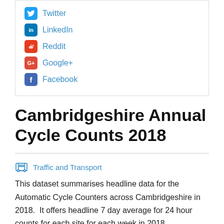Twitter
LinkedIn
Reddit
Google+
Facebook
Cambridgeshire Annual Cycle Counts 2018
Traffic and Transport
This dataset summarises headline data for the Automatic Cycle Counters across Cambridgeshire in 2018.  It offers headline 7 day average for 24 hour counts for each site for each week in 2018